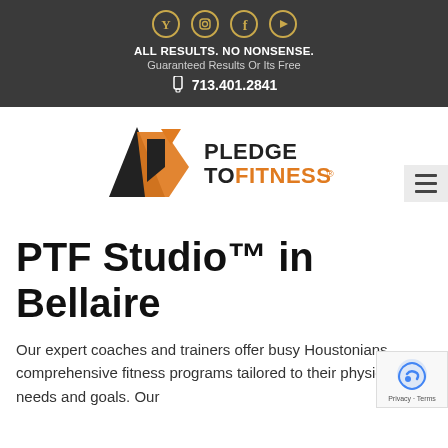ALL RESULTS. NO NONSENSE. Guaranteed Results Or Its Free 713.401.2841
[Figure (logo): Pledge To Fitness logo with orange and black geometric figure and text PLEDGE TO FITNESS with registered trademark symbol]
PTF Studio™ in Bellaire
Our expert coaches and trainers offer busy Houstonians comprehensive fitness programs tailored to their physical needs and goals. Our